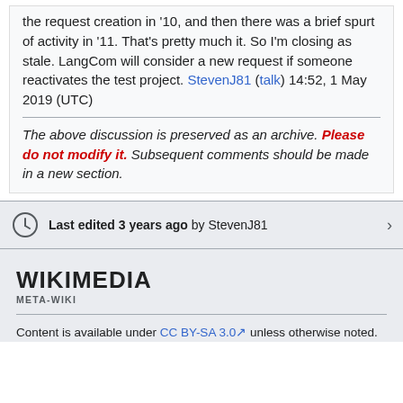the request creation in '10, and then there was a brief spurt of activity in '11. That's pretty much it. So I'm closing as stale. LangCom will consider a new request if someone reactivates the test project. StevenJ81 (talk) 14:52, 1 May 2019 (UTC)
The above discussion is preserved as an archive. Please do not modify it. Subsequent comments should be made in a new section.
Last edited 3 years ago by StevenJ81
[Figure (logo): Wikimedia Meta-Wiki logo wordmark]
Content is available under CC BY-SA 3.0 unless otherwise noted.